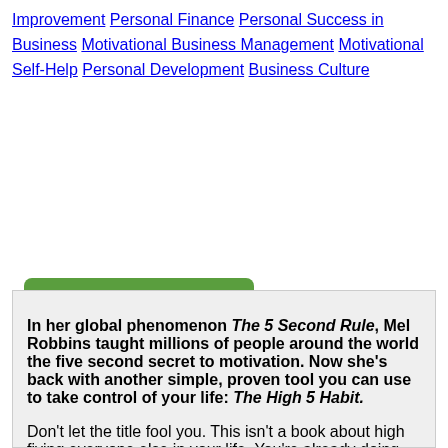Improvement   Personal Finance   Personal Success in Business   Motivational Business Management   Motivational Self-Help   Personal Development   Business Culture
[Figure (other): Green rounded button with Persian text 'افزودن به سبد خرید' (Add to cart)]
درباره کتاب   بخشی از کتاب
In her global phenomenon The 5 Second Rule, Mel Robbins taught millions of people around the world the five second secret to motivation. Now she's back with another simple, proven tool you can use to take control of your life: The High 5 Habit.

Don't let the title fool you. This isn't a book about high fiving everyone else in your life. You're already doing that. Cheering for your favorite teams. Celebrating your friends. Supporting the people you love as they go after what they want in life.

Imagine if you gave that same love and encouragement to yourself. Or even better, you made it a daily habit.

You'd be unstoppable.

In this book, Mel teaches you how to start high fiving the most important person in your life, the one who is staring back at you in the mirror: YOURSELF.

If you struggle with self-doubt (and who doesn't?) ...
If you're tired of that nagging critic in your head (could somebody evict them already?) ...
If you're wildly successful but all you focus on is what's going wrong (you're not